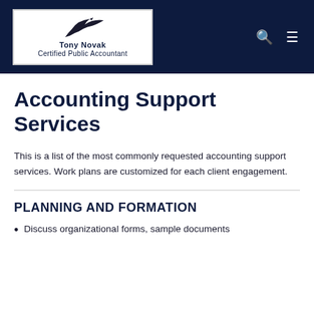[Figure (logo): Tony Novak Certified Public Accountant logo with bird silhouette in white box on dark navy header]
Accounting Support Services
This is a list of the most commonly requested accounting support services. Work plans are customized for each client engagement.
PLANNING AND FORMATION
Discuss organizational forms, sample documents